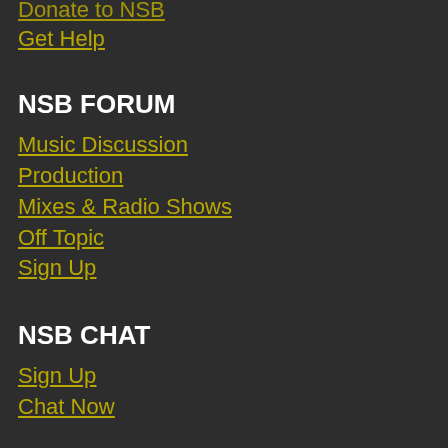Donate to NSB
Get Help
NSB FORUM
Music Discussion
Production
Mixes & Radio Shows
Off Topic
Sign Up
NSB CHAT
Sign Up
Chat Now
NSB ARCHIVES